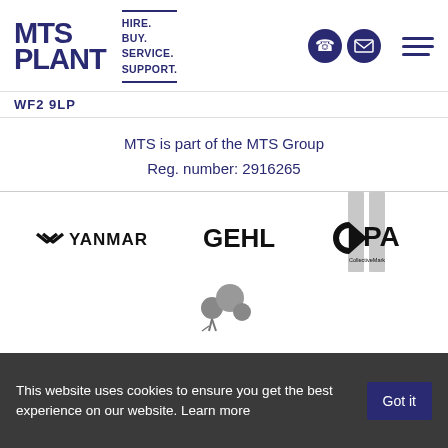[Figure (logo): MTS Plant logo with tagline HIRE. BUY. SERVICE. SUPPORT. and navigation icons]
WF2 9LP
MTS is part of the MTS Group
Reg. number: 2916265
[Figure (logo): Yanmar brand logo]
[Figure (logo): GEHL brand logo]
[Figure (logo): CPA CollectiveMark logo with grey vertical bars]
[Figure (logo): Partial logo with grey circles/dots motif at bottom]
This website uses cookies to ensure you get the best experience on our website. Learn more
Got it